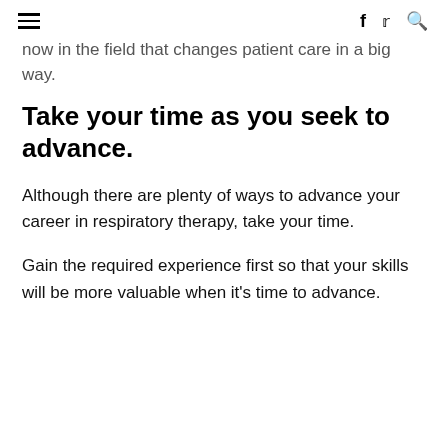≡   f  ✓  🔍
now in the field that changes patient care in a big way.
Take your time as you seek to advance.
Although there are plenty of ways to advance your career in respiratory therapy, take your time.
Gain the required experience first so that your skills will be more valuable when it's time to advance.